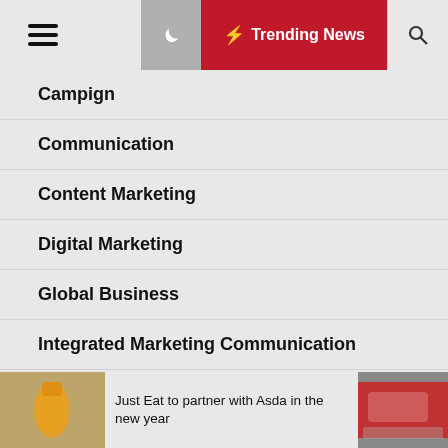Trending News
Campign
Communication
Content Marketing
Digital Marketing
Global Business
Integrated Marketing Communication
Internet Marketing
Just Eat to partner with Asda in the new year